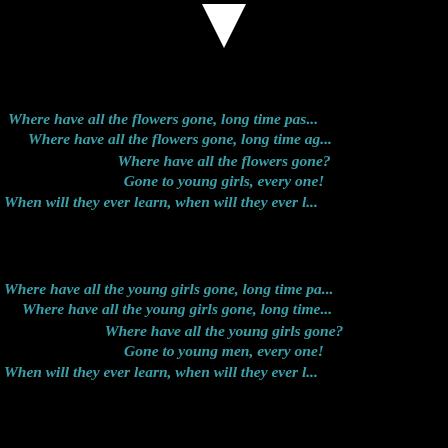[Figure (illustration): White downward-pointing triangle/arrow at the top center of the page on a black background]
Where have all the flowers gone, long time pas...
Where have all the flowers gone, long time ag...
Where have all the flowers gone?
Gone to young girls, every one!
When will they ever learn, when will they ever l...
Where have all the young girls gone, long time pa...
Where have all the young girls gone, long time...
Where have all the young girls gone?
Gone to young men, every one!
When will they ever learn, when will they ever l...